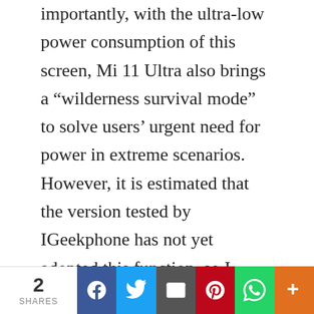importantly, with the ultra-low power consumption of this screen, Mi 11 Ultra also brings a “wilderness survival mode” to solve users’ urgent need for power in extreme scenarios. However, it is estimated that the version tested by IGeekphone has not yet adopted this function, so I won’t experience it here.

Seeing this small screen on the back of Mi 11, many friends will think of the smart window on the back of Meizu Pro7 a few years ago. The smart window can also be regarded as Meizu’s exploration of smart interaction. On the eve of the full-screen burst, it ended in failure. And this screen of Xiaomi is an icing
2 SHARES | Facebook | Twitter | Email | Pinterest | WhatsApp | +